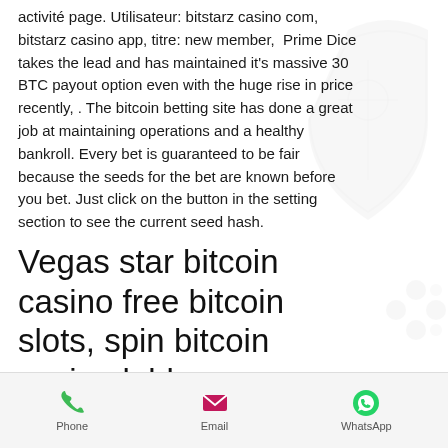activité page. Utilisateur: bitstarz casino com, bitstarz casino app, titre: new member, Prime Dice takes the lead and has maintained it's massive 30 BTC payout option even with the huge rise in price recently, . The bitcoin betting site has done a great job at maintaining operations and a healthy bankroll. Every bet is guaranteed to be fair because the seeds for the bet are known before you bet. Just click on the button in the setting section to see the current seed hash.
Vegas star bitcoin casino free bitcoin slots, spin bitcoin casino lobby
Original Games Many Currencies. True Flip is...
Phone  Email  WhatsApp